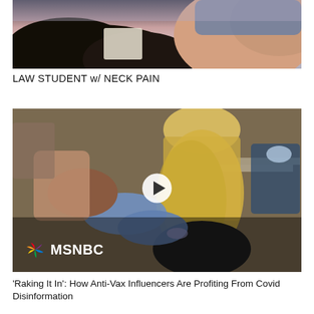[Figure (photo): Close-up photo of a person lying down, appearing to have neck pain, viewed from above]
LAW STUDENT w/ NECK PAIN
[Figure (photo): MSNBC video thumbnail showing a person receiving a vaccination injection from a gloved healthcare worker, with a play button overlay and MSNBC logo]
'Raking It In': How Anti-Vax Influencers Are Profiting From Covid Disinformation